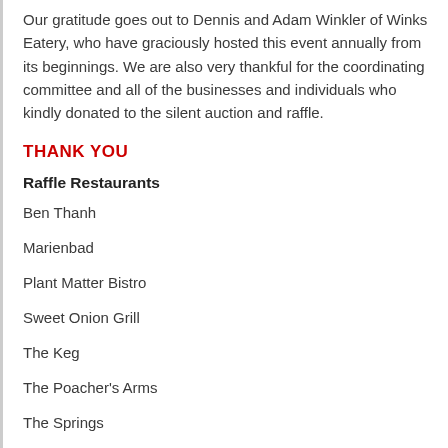Our gratitude goes out to Dennis and Adam Winkler of Winks Eatery, who have graciously hosted this event annually from its beginnings. We are also very thankful for the coordinating committee and all of the businesses and individuals who kindly donated to the silent auction and raffle.
THANK YOU
Raffle Restaurants
Ben Thanh
Marienbad
Plant Matter Bistro
Sweet Onion Grill
The Keg
The Poacher's Arms
The Springs